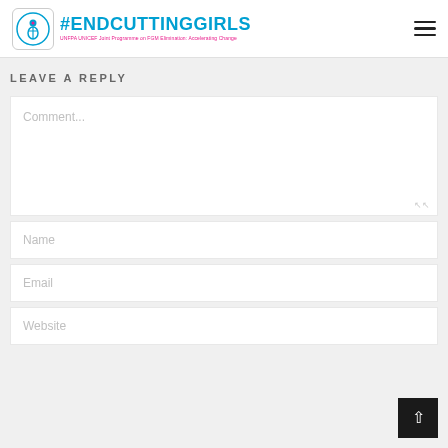[Figure (logo): EndCuttingGirls logo with icon and hashtag text #ENDCUTTINGGIRLS, UNFPA UNICEF Joint Programme on FGM Elimination: Accelerating Change]
LEAVE A REPLY
Comment...
Name
Email
Website